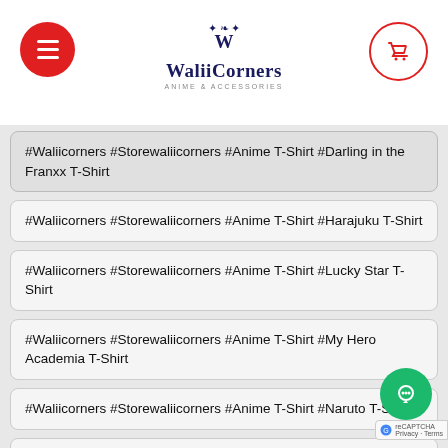WaliiCorners
#Waliicorners #Storewaliicorners #Anime T-Shirt #Darling in the Franxx T-Shirt
#Waliicorners #Storewaliicorners #Anime T-Shirt #Harajuku T-Shirt
#Waliicorners #Storewaliicorners #Anime T-Shirt #Lucky Star T-Shirt
#Waliicorners #Storewaliicorners #Anime T-Shirt #My Hero Academia T-Shirt
#Waliicorners #Storewaliicorners #Anime T-Shirt #Naruto T-Shirt
#Waliicorners #Storewaliicorners #Autumn Dress
#Waliicorners #Storewaliicorners #Game T-Shirts #helltaker T-Shirts
#Waliicorners #Storewaliicorners #Harajuku hoodies #streetwear Hoodies
#Waliicorners #Storewaliicorners #Harajuku hoodies #Swea...
#Waliicorners #Storewaliicorners #Harajuku hoodies #sweats...